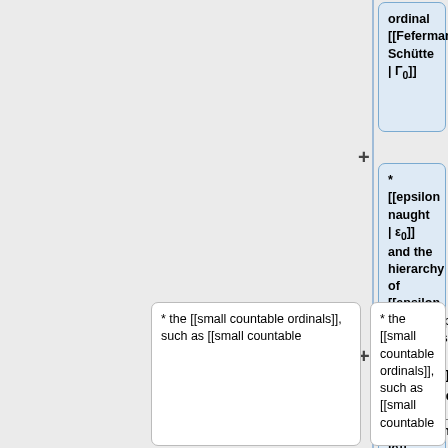ordinal [[Feferman-Schütte | Γ₀]]
* [[epsilon naught | ε₀]] and the hierarchy of [[epsilon naught#epsilon_numbers | εα numbers]]
* [[Limit_ordinal#Types_of_Limits|indecomposable]] ordinal
* the [[small countable ordinals]], such as [[small countable
* the [[small countable ordinals]], such as [[small countable